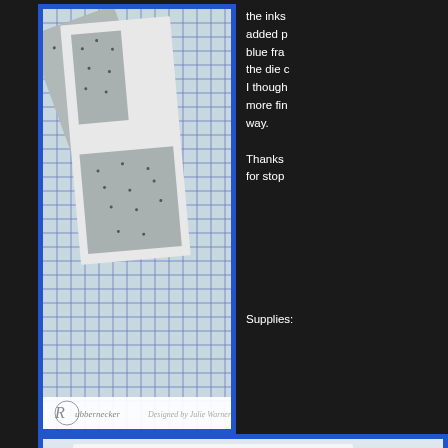[Figure (photo): Crafting photo showing silver/grey embossed cardstock pieces arranged on a blue-gridded cutting mat, with white card panels. Rubbernecker brand watermark at bottom with 'Designed by Julie Warner'.]
the inks added p blue fra the die I though more fin way. Thanks for stop Supplies:
[Figure (photo): Partial photo showing a card design with blue border and colorful stamped image, partially cropped at bottom of page.]